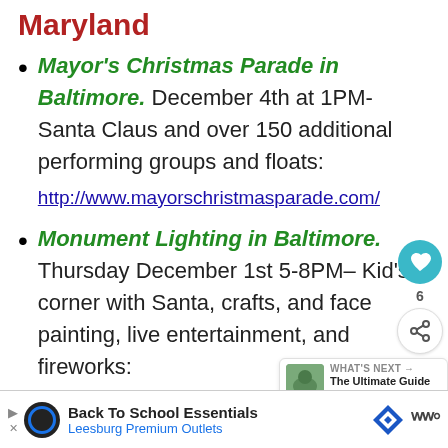Maryland
Mayor's Christmas Parade in Baltimore. December 4th at 1PM- Santa Claus and over 150 additional performing groups and floats: http://www.mayorschristmasparade.com/
Monument Lighting in Baltimore. Thursday December 1st 5-8PM– Kid's corner with Santa, crafts, and face painting, live entertainment, and fireworks: https://www.godowntownbaltimore.com/e